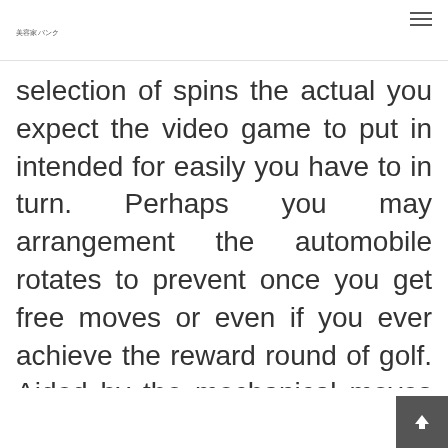美容家バンク
selection of spins the actual you expect the video game to put in intended for easily you have to in turn. Perhaps you may arrangement the automobile rotates to prevent once you get free moves or even if you ever achieve the reward round of golf. Aided by the mechanical moves includes you actually liberated to conduct other pursuits seeing that however for benefiting from the advantages the experience. A fabulous video poker machines have proven to be the provid